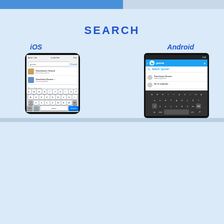SEARCH
iOS
[Figure (screenshot): iOS Twitter search screen showing search for 'gnome' with keyboard visible. Results include Travelocity's Gnome and Travelocity Gnome accounts.]
Android
[Figure (screenshot): Android Twitter search screen showing search for 'gnome' with dark keyboard. Results include Search 'gnome', Travelocity Gnome @RoamingGnome, and Go to @gnome.]
ACTIVITY BOARDS
iOS
[Figure (screenshot): iOS Twitter Activity Boards screen showing activity feed with items including 'BCS: Visual Refresh' and running list items.]
Android
[Figure (screenshot): Android Twitter Activity Boards screen showing Andi Belle profile in activity feed.]